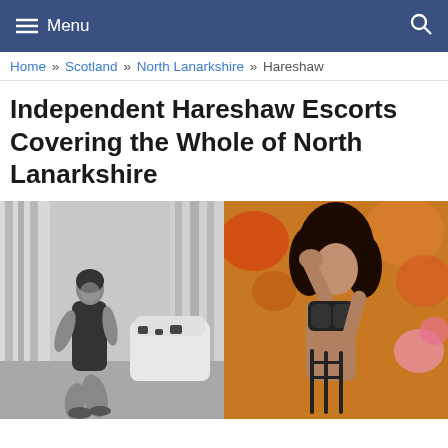≡ Menu
Home » Scotland » North Lanarkshire » Hareshaw
Independent Hareshaw Escorts Covering the Whole of North Lanarkshire
[Figure (photo): Two escort profile photos side by side: left shows a woman in a black swimsuit posing in a room with grey curtains and a white chair; right shows a woman with long dark curly hair in black lingerie posed against a warm orange/floral background.]